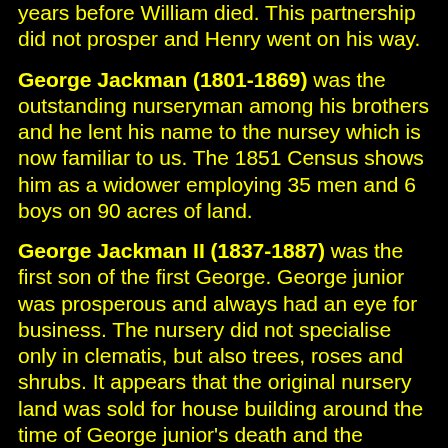years before William died. This partnership did not prosper and Henry went on his way.
George Jackman (1801-1869) was the outstanding nurseryman among his brothers and he lent his name to the nursey which is now familiar to us. The 1851 Census shows him as a widower employing 35 men and 6 boys on 90 acres of land.
George Jackman II (1837-1887) was the first son of the first George. George junior was prosperous and always had an eye for business. The nursery did not specialise only in clematis, but also trees, roses and shrubs. It appears that the original nursery land was sold for house building around the time of George junior's death and the business moved to a new site.
Mr Henderson of Pineapple Nursery, St John's Wood, London is credited with the first succesful attempt at clematis hybridising when he raised Clematis hendersonii (now C. x eriostemon) in